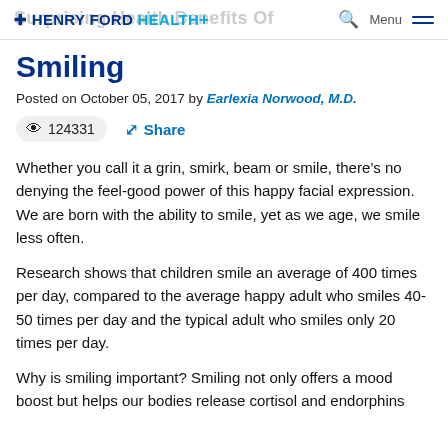HENRY FORD HEALTH+
Surprising Health Benefits Of Smiling
Posted on October 05, 2017 by Earlexia Norwood, M.D.
👁 124331   Share
Whether you call it a grin, smirk, beam or smile, there’s no denying the feel-good power of this happy facial expression. We are born with the ability to smile, yet as we age, we smile less often.
Research shows that children smile an average of 400 times per day, compared to the average happy adult who smiles 40-50 times per day and the typical adult who smiles only 20 times per day.
Why is smiling important? Smiling not only offers a mood boost but helps our bodies release cortisol and endorphins